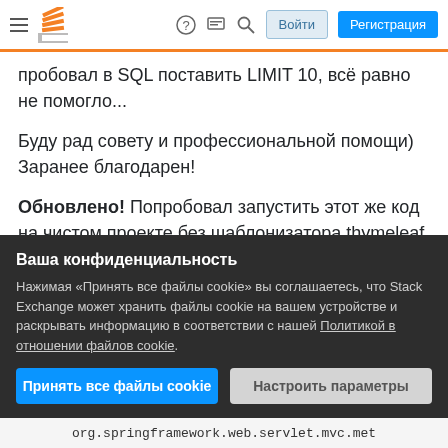Stack Overflow navigation bar with Войти and Регистрация buttons
пробовал в SQL поставить LIMIT 10, всё равно не помогло...
Буду рад совету и профессиональной помощи) Заранее благодарен!
Обновлено! Попробовал запустить этот же код на чистом проекте без шаблонизатора thymeleaf, как мне было посоветовано. Ситуация та же, хоть и лог исключения отличается. Значения с типом Long выводит, а вот с типом String не
Ваша конфиденциальность
Нажимая «Принять все файлы cookie» вы соглашаетесь, что Stack Exchange может хранить файлы cookie на вашем устройстве и раскрывать информацию в соответствии с нашей Политикой в отношении файлов cookie.
Принять все файлы cookie
Настроить параметры
org.springframework.web.servlet.mvc.met